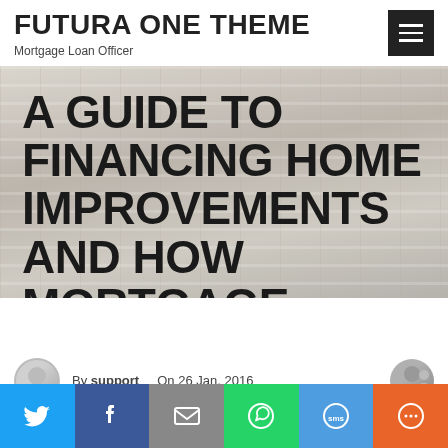FUTURA ONE THEME — Mortgage Loan Officer
A GUIDE TO FINANCING HOME IMPROVEMENTS AND HOW MORTGAGE REFINANCING CAN HELP
By support   On 26 Jan, 2016